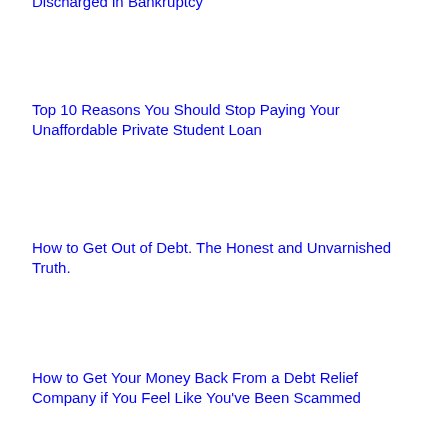Discharged in Bankruptcy
Top 10 Reasons You Should Stop Paying Your Unaffordable Private Student Loan
How to Get Out of Debt. The Honest and Unvarnished Truth.
How to Get Your Money Back From a Debt Relief Company if You Feel Like You've Been Scammed